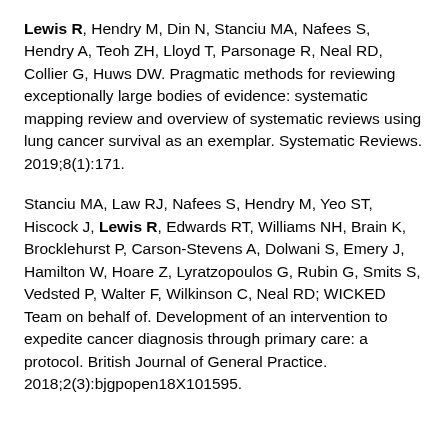Lewis R, Hendry M, Din N, Stanciu MA, Nafees S, Hendry A, Teoh ZH, Lloyd T, Parsonage R, Neal RD, Collier G, Huws DW. Pragmatic methods for reviewing exceptionally large bodies of evidence: systematic mapping review and overview of systematic reviews using lung cancer survival as an exemplar. Systematic Reviews. 2019;8(1):171.
Stanciu MA, Law RJ, Nafees S, Hendry M, Yeo ST, Hiscock J, Lewis R, Edwards RT, Williams NH, Brain K, Brocklehurst P, Carson-Stevens A, Dolwani S, Emery J, Hamilton W, Hoare Z, Lyratzopoulos G, Rubin G, Smits S, Vedsted P, Walter F, Wilkinson C, Neal RD; WICKED Team on behalf of. Development of an intervention to expedite cancer diagnosis through primary care: a protocol. British Journal of General Practice. 2018;2(3):bjgpopen18X101595.